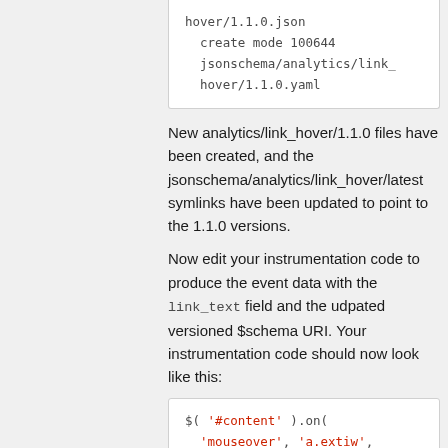[Figure (screenshot): Code block showing file creation commands: create mode 100644 jsonschema/analytics/link_hover/1.1.0.yaml]
New analytics/link_hover/1.1.0 files have been created, and the jsonschema/analytics/link_hover/latest symlinks have been updated to point to the 1.1.0 versions.
Now edit your instrumentation code to produce the event data with the link_text field and the udpated versioned $schema URI. Your instrumentation code should now look like this:
[Figure (screenshot): Code block showing JavaScript: $( '#content' ).on( 'mouseover', 'a.extiw', function ( jqEvent ) { var link =]